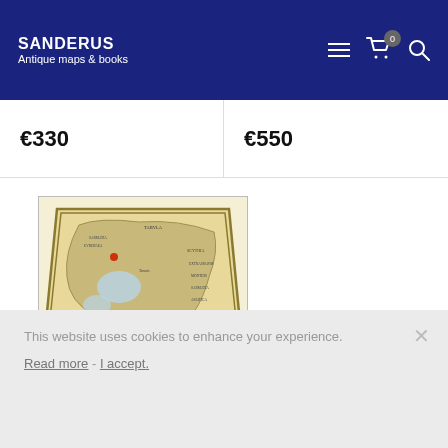SANDERUS Antique maps & books
€330
€550
[Figure (illustration): Antique map: Secunda Asiae Tabula showing Russia and Caucasus region, 1513, woodcut style with decorative border]
Secunda Asiae Tabula. 1513  ...
Russia and Caucasus by Marti...
This website uses cookies to enhance your experience. Read more - I accept.